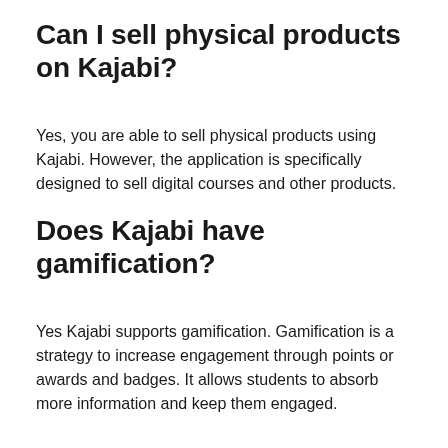Can I sell physical products on Kajabi?
Yes, you are able to sell physical products using Kajabi. However, the application is specifically designed to sell digital courses and other products.
Does Kajabi have gamification?
Yes Kajabi supports gamification. Gamification is a strategy to increase engagement through points or awards and badges. It allows students to absorb more information and keep them engaged.